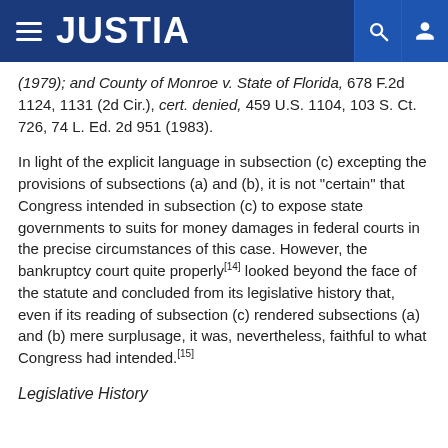JUSTIA
(1979); and County of Monroe v. State of Florida, 678 F.2d 1124, 1131 (2d Cir.), cert. denied, 459 U.S. 1104, 103 S. Ct. 726, 74 L. Ed. 2d 951 (1983).
In light of the explicit language in subsection (c) excepting the provisions of subsections (a) and (b), it is not "certain" that Congress intended in subsection (c) to expose state governments to suits for money damages in federal courts in the precise circumstances of this case. However, the bankruptcy court quite properly[14] looked beyond the face of the statute and concluded from its legislative history that, even if its reading of subsection (c) rendered subsections (a) and (b) mere surplusage, it was, nevertheless, faithful to what Congress had intended.[15]
Legislative History